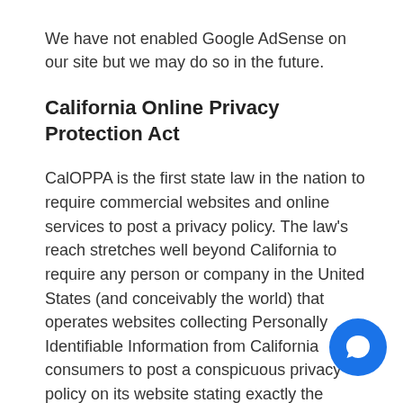We have not enabled Google AdSense on our site but we may do so in the future.
California Online Privacy Protection Act
CalOPPA is the first state law in the nation to require commercial websites and online services to post a privacy policy. The law's reach stretches well beyond California to require any person or company in the United States (and conceivably the world) that operates websites collecting Personally Identifiable Information from California consumers to post a conspicuous privacy policy on its website stating exactly the information being collected and those individuals or companies with whom it is being shared. See more at: